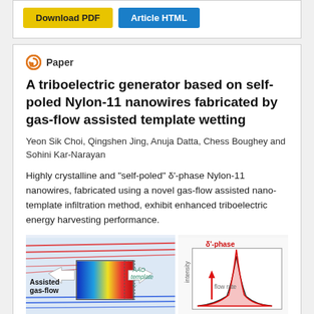Download PDF | Article HTML
Paper
A triboelectric generator based on self-poled Nylon-11 nanowires fabricated by gas-flow assisted template wetting
Yeon Sik Choi, Qingshen Jing, Anuja Datta, Chess Boughey and Sohini Kar-Narayan
Highly crystalline and "self-poled" δ'-phase Nylon-11 nanowires, fabricated using a novel gas-flow assisted nano-template infiltration method, exhibit enhanced triboelectric energy harvesting performance.
[Figure (illustration): Diagram showing gas-flow assisted AAO template fabrication process with heat simulation and AAO template label]
[Figure (continuous-plot): Plot showing δ'-phase peak with flow rate arrow indicating intensity increase, x-axis unlabeled, y-axis labeled intensity]